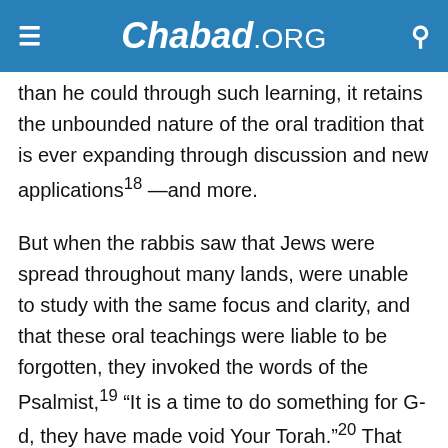Chabad.ORG
than he could through such learning, it retains the unbounded nature of the oral tradition that is ever expanding through discussion and new applications¹18 —and more.
But when the rabbis saw that Jews were spread throughout many lands, were unable to study with the same focus and clarity, and that these oral teachings were liable to be forgotten, they invoked the words of the Psalmist,¹19 “It is a time to do something for G-d, they have made void Your Torah.”¹20 That certainly doesn’t mean that they overrode any prohibition. To paraphrase Rashi’s explanation: When the times warrant special measures for heaven’s sake, the